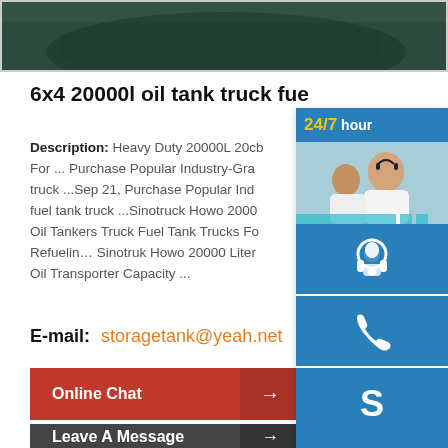[Figure (photo): Top portion of a product photo showing a dark green/teal tank truck cab, partially cropped]
6x4 20000l oil tank truck fue...
Description: Heavy Duty 20000L 20cb For ... Purchase Popular Industry-Gra truck ...Sep 21, Purchase Popular Ind fuel tank truck ...Sinotruck Howo 2000 Oil Tankers Truck Fuel Tank Trucks Fo Refuelin… Sinotruk Howo 20000 Liter Oil Transporter Capacity ...
E-mail:  storagetank@yeah.net
[Figure (infographic): 24/7 hour customer service overlay panel with headset icon, phone icon, Skype icon, and Click to chat button, overlaid with a customer service representative photo]
Online Chat →
Leave A Message →